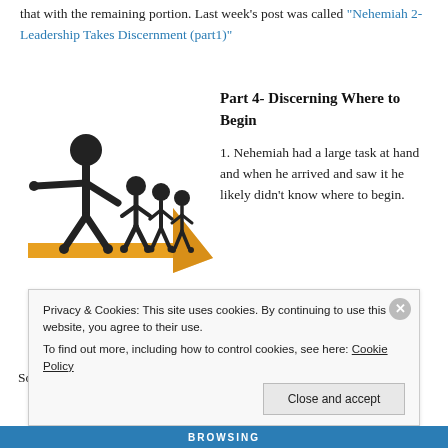that with the remaining portion.  Last week's post was called “Nehemiah 2- Leadership Takes Discernment (part1)”
[Figure (illustration): Stick figure leader pointing forward, leading a group of smaller stick figures along an orange arrow-shaped platform]
Part 4- Discerning Where to Begin
1.  Nehemiah had a large task at hand and when he arrived and saw it he likely didn’t know where to begin.  So, he goes out on a mission to see first hand
Privacy & Cookies: This site uses cookies. By continuing to use this website, you agree to their use.
To find out more, including how to control cookies, see here: Cookie Policy
Close and accept